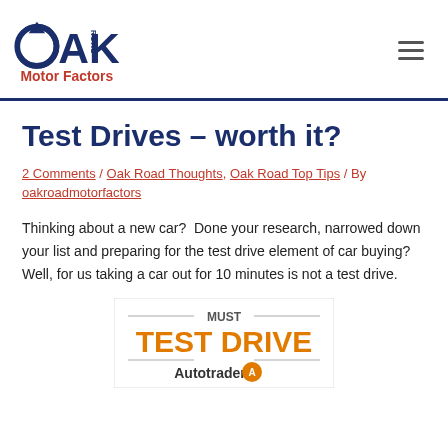Oak Road Motor Factors
Test Drives – worth it?
2 Comments / Oak Road Thoughts, Oak Road Top Tips / By oakroadmotorfactors
Thinking about a new car?  Done your research, narrowed down your list and preparing for the test drive element of car buying?  Well, for us taking a car out for 10 minutes is not a test drive.
[Figure (logo): Must Test Drive - Autotrader badge/logo image with orange text saying MUST TEST DRIVE and Autotrader branding below]